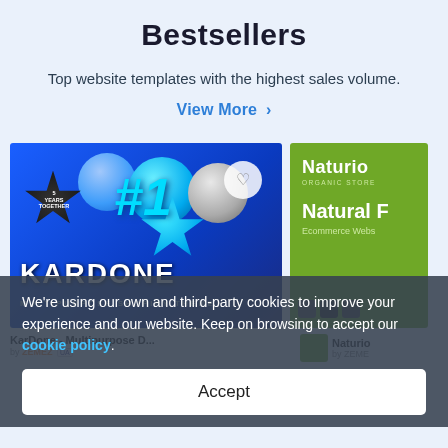Bestsellers
Top website templates with the highest sales volume.
View More >
[Figure (screenshot): KarDone Multipurpose Shopify Theme product thumbnail with balloons and #1 badge on blue background]
[Figure (screenshot): Naturio Natural Food Ecommerce Website template thumbnail on green background]
KarDone - Multipurpose D...
by ZEMEZ UA
Naturio
by ZEME
We're using our own and third-party cookies to improve your experience and our website. Keep on browsing to accept our cookie policy.
Accept